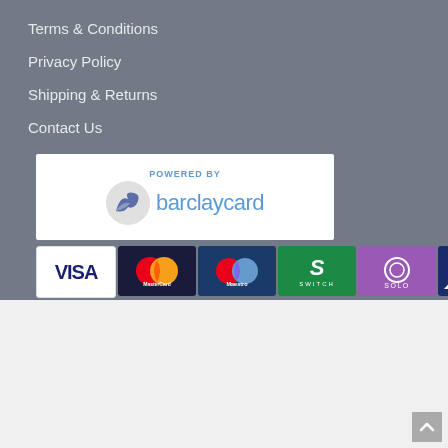Terms & Conditions
Privacy Policy
Shipping & Returns
Contact Us
[Figure (logo): Powered by Barclaycard logo with eagle icon and blue text]
[Figure (logo): Payment card logos: VISA, MasterCard, Maestro, Switch, Solo, Delta]
Home   About Us   Silver Care   Cutlery Guide   Silver Frames   Customer Feedback
Copyright © 2018 Arbras Gallery, Inc. All rights reserved.